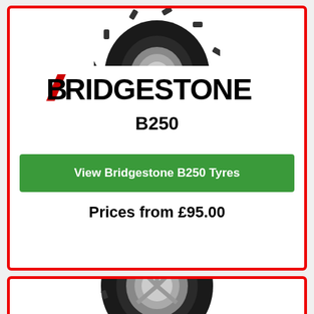[Figure (illustration): Bridgestone B250 tyre image - black tyre with silver rim, top portion visible]
[Figure (logo): Bridgestone brand logo in bold black text with red diagonal slash on the B]
B250
View Bridgestone B250 Tyres
Prices from £95.00
[Figure (illustration): Second Bridgestone tyre image - black winter tyre with silver alloy rim]